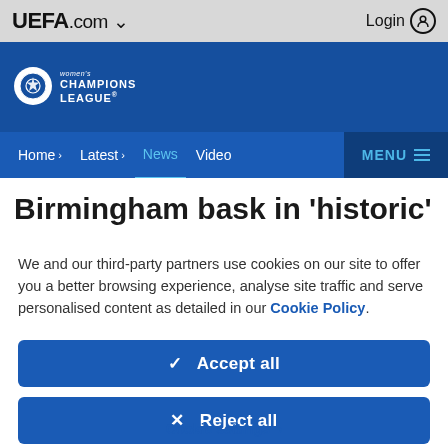UEFA.com Login
[Figure (logo): UEFA Women's Champions League logo on blue background]
Home > Latest > News Video MENU
Birmingham bask in 'historic'
We and our third-party partners use cookies on our site to offer you a better browsing experience, analyse site traffic and serve personalised content as detailed in our Cookie Policy.
✓ Accept all
✗ Reject all
Cookie settings >